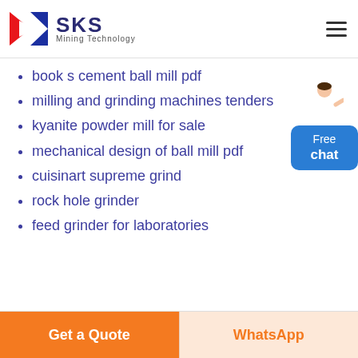[Figure (logo): SKS Mining Technology logo with red and blue geometric arrow icon and company name]
book s cement ball mill pdf
milling and grinding machines tenders
kyanite powder mill for sale
mechanical design of ball mill pdf
cuisinart supreme grind
rock hole grinder
feed grinder for laboratories
[Figure (illustration): Customer service representative with Free chat button widget]
Get a Quote | WhatsApp